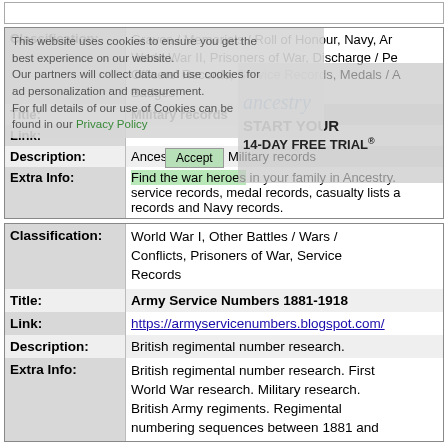| Classification: | Graves / Memorials / Roll of Honour, Navy, Army, World War II, Prisoners of War, Discharge / Pe Officers' Records, Service Records, Medals / A Badges. |
| Title: | Military records |
| Link: | ancestry |
| Description: | Ancestry.co.uk's Military records |
| Extra Info: | Find the war heroes in your family in Ancestry. service records, medal records, casualty lists a records and Navy records. |
| Classification: | World War I, Other Battles / Wars / Conflicts, Prisoners of War, Service Records |
| Title: | Army Service Numbers 1881-1918 |
| Link: | https://armyservicenumbers.blogspot.com/ |
| Description: | British regimental number research. |
| Extra Info: | British regimental number research. First World War research. Military research. British Army regiments. Regimental numbering sequences between 1881 and |